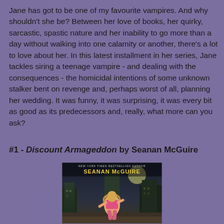Jane has got to be one of my favourite vampires. And why shouldn't she be? Between her love of books, her quirky, sarcastic, spastic nature and her inability to go more than a day without walking into one calamity or another, there's a lot to love about her. In this latest installment in her series, Jane tackles siring a teenage vampire - and dealing with the consequences - the homicidal intentions of some unknown stalker bent on revenge and, perhaps worst of all, planning her wedding. It was funny, it was surprising, it was every bit as good as its predecessors and, really, what more can you ask?
#1 - Discount Armageddon by Seanan McGuire
[Figure (photo): Book cover of Discount Armageddon by Seanan McGuire, showing a blonde woman in action pose against a dark city skyline, with 'NEW YORK TIMES BESTSELLING AUTHOR SEANAN McGUIRE' text at the top]